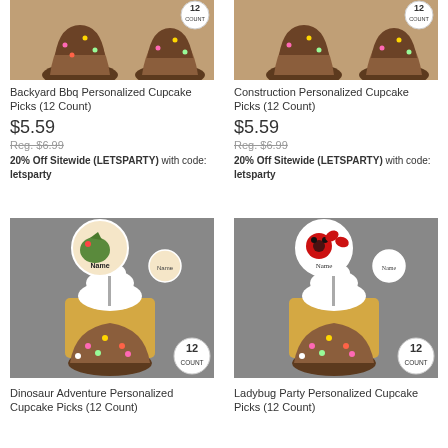[Figure (photo): Backyard BBQ personalized cupcake pick product photo with chocolate cupcakes and 12 Count badge]
[Figure (photo): Construction personalized cupcake pick product photo with chocolate cupcakes and 12 Count badge]
Backyard Bbq Personalized Cupcake Picks (12 Count)
Construction Personalized Cupcake Picks (12 Count)
$5.59
$5.59
Reg. $6.99
Reg. $6.99
20% Off Sitewide (LETSPARTY) with code: letsparty
20% Off Sitewide (LETSPARTY) with code: letsparty
[Figure (photo): Dinosaur Adventure personalized cupcake pick product photo with white frosted cupcake, dinosaur topper, and 12 Count badge]
[Figure (photo): Ladybug Party personalized cupcake pick product photo with white frosted cupcake, ladybug topper, and 12 Count badge]
Dinosaur Adventure Personalized Cupcake Picks (12 Count)
Ladybug Party Personalized Cupcake Picks (12 Count)